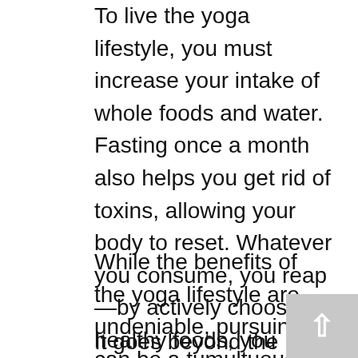To live the yoga lifestyle, you must increase your intake of whole foods and water. Fasting once a month also helps you get rid of toxins, allowing your body to reset. Whatever you consume, you reap—by actively choosing healthy foods, you become healthier in every aspect.
While the benefits of the yoga lifestyle are undeniable, pursuing it can be a tumultuous process. It requires you to actively embrace calm, self-love, and discipline, a recipe of which entails patience and determination.
It goes beyond the physical realm of health, going deeper than scheduling gym workout sessions and